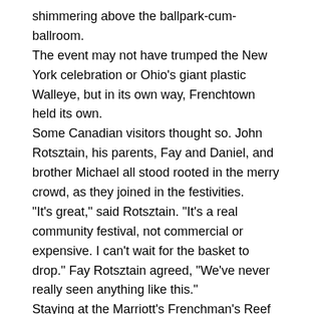shimmering above the ballpark-cum-ballroom.
The event may not have trumped the New York celebration or Ohio's giant plastic Walleye, but in its own way, Frenchtown held its own.
Some Canadian visitors thought so. John Rotsztain, his parents, Fay and Daniel, and brother Michael all stood rooted in the merry crowd, as they joined in the festivities.
"It's great," said Rotsztain. "It's a real community festival, not commercial or expensive. I can't wait for the basket to drop." Fay Rotsztain agreed, "We've never really seen anything like this."
Staying at the Marriott's Frenchman's Reef Beach Resort, Rotsztain and company had been sampling Frenchtown restaurants the night before. That's when they noticed a sign for the event in the local grocery store and decided this was where they would head for New Year's.
Petite Elizabeth "Lellel" Aubain then extended a hand to the